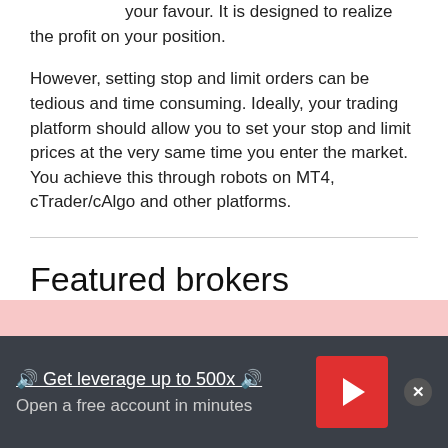order is triggered when prices move in your favour. It is designed to realize the profit on your position.
However, setting stop and limit orders can be tedious and time consuming. Ideally, your trading platform should allow you to set your stop and limit prices at the very same time you enter the market. You achieve this through robots on MT4, cTrader/cAlgo and other platforms.
Featured brokers
[Figure (other): Pink background box, partially visible at bottom of content area]
🔊 Get leverage up to 500x 🔊
Open a free account in minutes